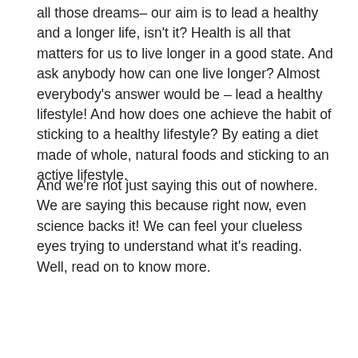all those dreams– our aim is to lead a healthy and a longer life, isn't it? Health is all that matters for us to live longer in a good state. And ask anybody how can one live longer? Almost everybody's answer would be – lead a healthy lifestyle! And how does one achieve the habit of sticking to a healthy lifestyle? By eating a diet made of whole, natural foods and sticking to an active lifestyle.
And we're not just saying this out of nowhere. We are saying this because right now, even science backs it! We can feel your clueless eyes trying to understand what it's reading. Well, read on to know more.